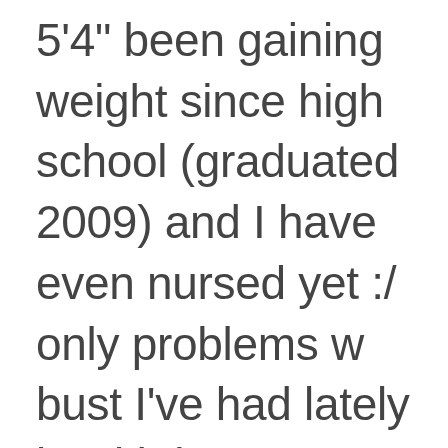5'4" been gaining weight since high school (graduated 2009) and I have even nursed yet :/ only problems w bust I've had lately is with button up shirts I have to get a Large in Women and wear something under the butt up (used to fit Juniors Large). My fian says they are good for my size but getting nervous because I want kids I don't want to go up in size much m